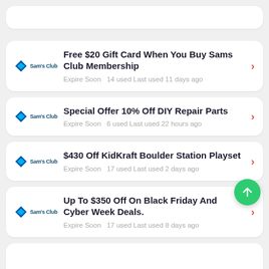(partial top card)
Free $20 Gift Card When You Buy Sams Club Membership — Expire Soon · 14 used Last used 11 days ago
Special Offer 10% Off DIY Repair Parts — Expire Soon · 6 used Last used 22 hours ago
$430 Off KidKraft Boulder Station Playset — Expire Soon · 17 used Last used 2 days ago
Up To $350 Off On Black Friday And Cyber Week Deals. — Expire Soon · 17 used Last used 8 days ago
(partial bottom card)